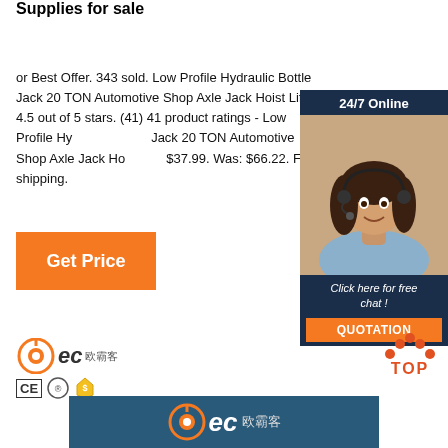Supplies for sale
or Best Offer. 343 sold. Low Profile Hydraulic Bottle Jack 20 TON Automotive Shop Axle Jack Hoist Lift. 4.5 out of 5 stars. (41) 41 product ratings - Low Profile Hydraulic Bottle Jack 20 TON Automotive Shop Axle Jack Hoist Lift. $37.99. Was: $66.22. Free shipping.
[Figure (screenshot): Orange 'Get Price' button]
[Figure (infographic): 24/7 Online chat widget with photo of woman with headset and 'Click here for free chat!' text and orange QUOTATION button]
[Figure (logo): BEC logo with Chinese characters and CE, certification and gold shield icons]
[Figure (other): Red TOP button with dots above pointing upward]
[Figure (logo): BEC logo on dark blue banner background with Chinese characters]